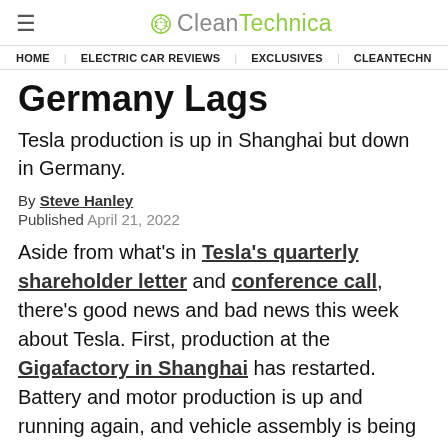≡ CleanTechnica
HOME | ELECTRIC CAR REVIEWS | EXCLUSIVES | CLEANTECHN
Germany Lags
Tesla production is up in Shanghai but down in Germany.
By Steve Hanley
Published April 21, 2022
Aside from what's in Tesla's quarterly shareholder letter and conference call, there's good news and bad news this week about Tesla. First, production at the Gigafactory in Shanghai has restarted. Battery and motor production is up and running again, and vehicle assembly is being